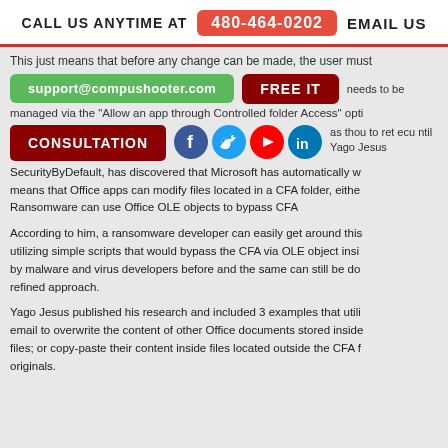CALL US ANYTIME AT 480-464-0202 EMAIL US
This just means that before any change can be made, the user must
support@compushooter.com   FREE IT   needs to be managed via the "Allow an app through Controlled folder Access" opti
CONSULTATION   as thou to ret ecu ntil Yago Jesus SecurityByDefault, has discovered that Microsoft has automatically w means that Office apps can modify files located in a CFA folder, either. Ransomware can use Office OLE objects to bypass CFA
According to him, a ransomware developer can easily get around this utilizing simple scripts that would bypass the CFA via OLE object insi by malware and virus developers before and the same can still be do refined approach.
Yago Jesus published his research and included 3 examples that utili email to overwrite the content of other Office documents stored inside files; or copy-paste their content inside files located outside the CFA f originals.